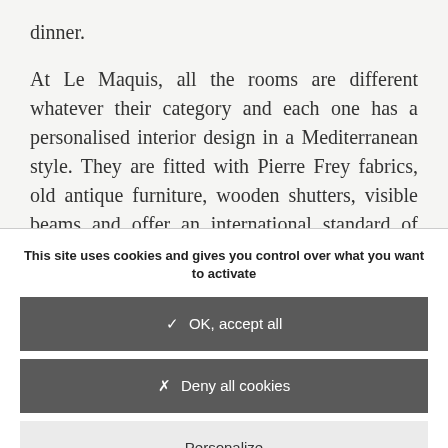dinner.
At Le Maquis, all the rooms are different whatever their category and each one has a personalised interior design in a Mediterranean style. They are fitted with Pierre Frey fabrics, old antique furniture, wooden shutters, visible beams and offer an international standard of comfort. They are all equipped with 32' top-of-
This site uses cookies and gives you control over what you want to activate
✓  OK, accept all
✗  Deny all cookies
Personalize